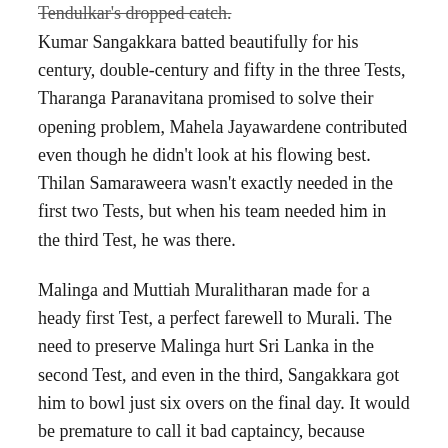Tendulkar's dropped catch.
Kumar Sangakkara batted beautifully for his century, double-century and fifty in the three Tests, Tharanga Paranavitana promised to solve their opening problem, Mahela Jayawardene contributed even though he didn't look at his flowing best. Thilan Samaraweera wasn't exactly needed in the first two Tests, but when his team needed him in the third Test, he was there.
Malinga and Muttiah Muralitharan made for a heady first Test, a perfect farewell to Murali. The need to preserve Malinga hurt Sri Lanka in the second Test, and even in the third, Sangakkara got him to bowl just six overs on the final day. It would be premature to call it bad captaincy, because perhaps Malinga's body was at the brink again.